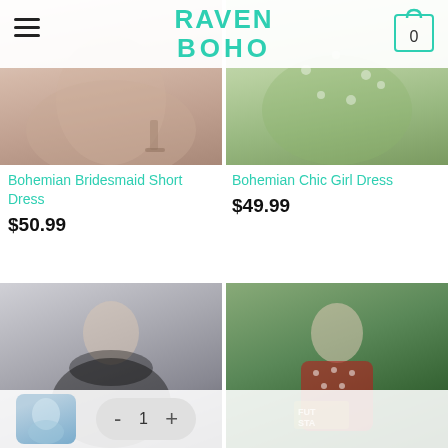RAVEN BOHO
[Figure (photo): Bohemian bridesmaid short dress - pink/mauve flowing fabric with heels]
[Figure (photo): Bohemian chic girl dress - green floral print mini dress]
Bohemian Bridesmaid Short Dress
$50.99
Bohemian Chic Girl Dress
$49.99
[Figure (photo): Black lace applique tulle dress on woman smiling]
[Figure (photo): Red polka dot off-shoulder dress on woman outdoors with tropical plants]
[Figure (photo): Thumbnail of light blue dress for quantity selector]